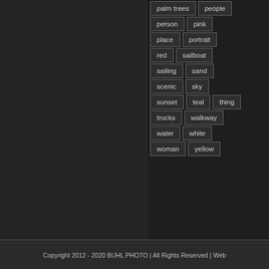palm trees
people
person
pink
place
portrait
red
sailboat
sailing
sand
scenic
sky
sunset
teal
thing
trucks
walkway
water
white
woman
yellow
Copyright 2012 - 2020 BUHL PHOTO | All Rights Reserved | Web